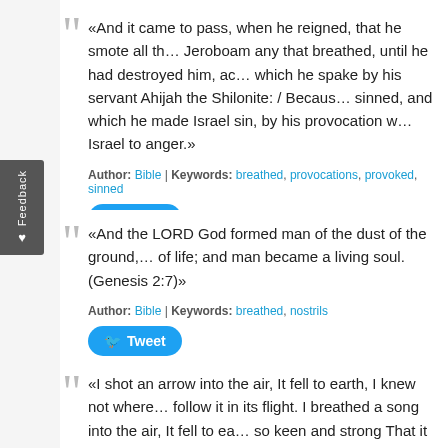«And it came to pass, when he reigned, that he smote all the house of Jeroboam any that breathed, until he had destroyed him, according to the saying of the LORD, which he spake by his servant Ahijah the Shilonite: / Because of the sins of Jeroboam which he sinned, and which he made Israel sin, by his provocation wherewith he provoked the LORD God of Israel to anger.»
Author: Bible | Keywords: breathed, provocations, provoked, sinned
Tweet
«And the LORD God formed man of the dust of the ground, and breathed into his nostrils the breath of life; and man became a living soul. (Genesis 2:7)»
Author: Bible | Keywords: breathed, nostrils
Tweet
«I shot an arrow into the air, It fell to earth, I knew not where; For, so swiftly it flew, the sight Could not follow it in its flight. I breathed a song into the air, It fell to earth, I knew not where; For who has sight so keen and strong That it can follow the flight of song? Lon... the arrow, still unbroken; And the song, from beginning to end...